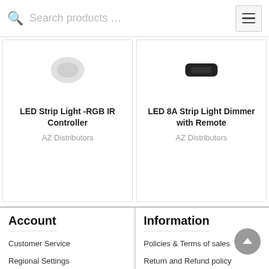Search products …
LED Strip Light -RGB IR Controller
AZ Distributors
LED 8A Strip Light Dimmer with Remote
AZ Distributors
Account
Information
Customer Service
Regional Settings
Create Account
Login
Policies & Terms of sales
Return and Refund policy
Trusted Installers & Distributors